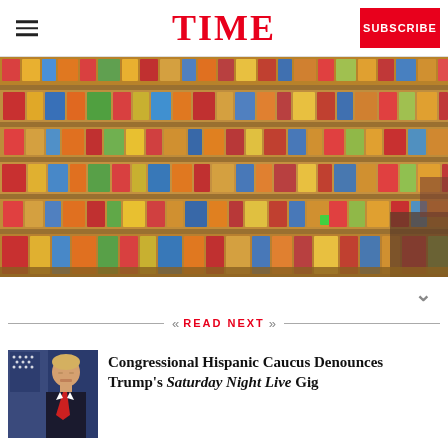TIME
[Figure (photo): Grocery store shelves packed with colorful food and product packages, viewed from aisle angle]
READ NEXT
[Figure (photo): Thumbnail photo of Donald Trump at a podium with American flags]
Congressional Hispanic Caucus Denounces Trump's Saturday Night Live Gig